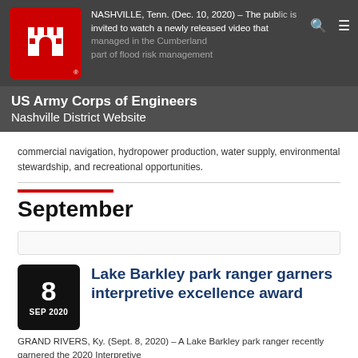US Army Corps of Engineers Nashville District Website
NASHVILLE, Tenn. (Dec. 10, 2020) – The public is invited to watch a newly released video that … managed in the Cumberland … part of flood risk management commercial navigation, hydropower production, water supply, environmental stewardship, and recreational opportunities.
September
Lake Barkley park ranger garners interpretive excellence award
GRAND RIVERS, Ky. (Sept. 8, 2020) – A Lake Barkley park ranger recently garnered the 2020 Interpretive…